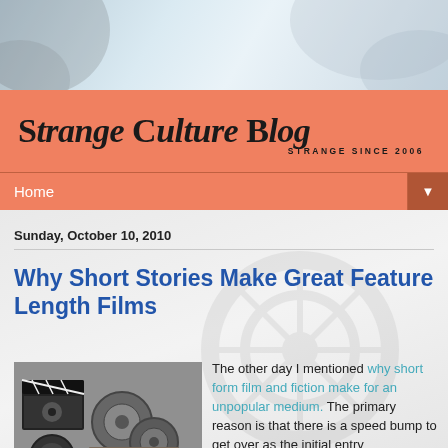[Figure (illustration): Blog header banner with light blue-grey gradient background and faint silhouette shadows]
Strange Culture Blog — STRANGE SINCE 2006
Home
Sunday, October 10, 2010
Why Short Stories Make Great Feature Length Films
[Figure (photo): Photo of a movie clapperboard and stacked film reels and books in black and white]
The other day I mentioned why short form film and fiction make for an unpopular medium. The primary reason is that there is a speed bump to get over as the initial entry